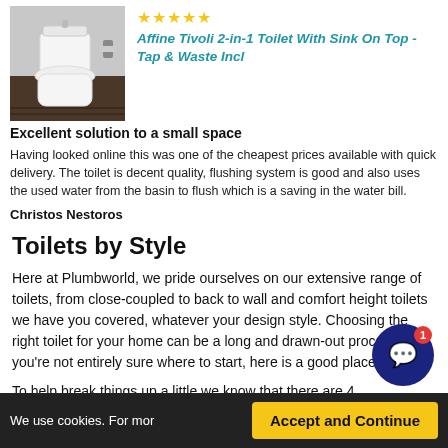[Figure (photo): Product photo of Affine Tivoli 2-in-1 Toilet With Sink On Top - a white toilet unit shown against a dark floor]
★★★★★
Affine Tivoli 2-in-1 Toilet With Sink On Top - Tap & Waste Incl
Excellent solution to a small space
Having looked online this was one of the cheapest prices available with quick delivery. The toilet is decent quality, flushing system is good and also uses the used water from the basin to flush which is a saving in the water bill.
Christos Nestoros
Toilets by Style
Here at Plumbworld, we pride ourselves on our extensive range of toilets, from close-coupled to back to wall and comfort height toilets we have you covered, whatever your design style. Choosing the right toilet for your home can be a long and drawn-out process so if you're not entirely sure where to start, here is a good place!
To help break things up a little we know that there are 4 main types of toilet:
We use cookies. For mor... Accept and Continue